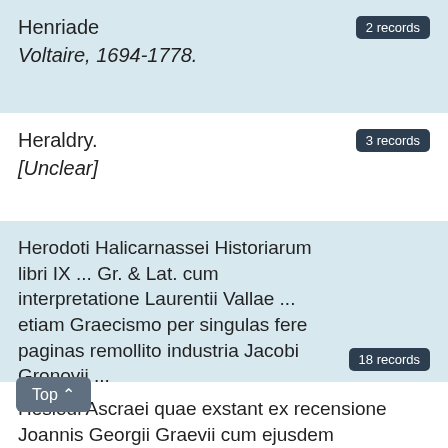Henriade
Voltaire, 1694-1778.
2 records
Heraldry.
[Unclear]
3 records
Herodoti Halicarnassei Historiarum libri IX ... Gr. & Lat. cum interpretatione Laurentii Vallae ... etiam Graecismo per singulas fere paginas remollito industria Jacobi Gronovii ...
Herodotus.
18 records
Hesiodi Ascraei quae exstant ex recensione Joannis Georgii Graevii cum ejusdem animadversionibus et notis auctoribus. Accedit commentarius nunc primùm editus Joannis Clerici, notae variorum ... ac Danielis Heinsii introductio in doctrinam Operum et dierum, nec non index